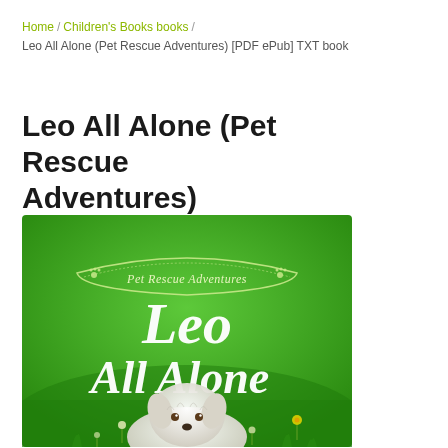Home / Children's Books books / Leo All Alone (Pet Rescue Adventures) [PDF ePub] TXT book
Leo All Alone (Pet Rescue Adventures)
[Figure (illustration): Book cover for 'Leo All Alone' from the Pet Rescue Adventures series. Green background with white cursive text reading 'Leo All Alone' and a banner at the top reading 'Pet Rescue Adventures'. A fluffy white puppy is visible at the bottom of the cover among flowers and grass.]